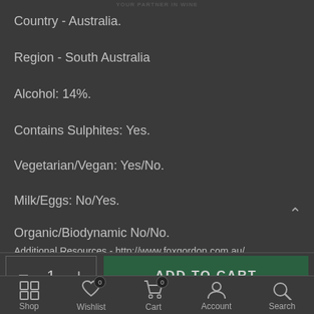YOUR PARTNER IN WINE
Country - Australia.
Region - South Australia
Alcohol: 14%.
Contains Sulphites: Yes.
Vegetarian/Vegan: Yes/No.
Milk/Eggs: No/Yes.
Organic/Biodynamic No/No.
Additional Resources - http://www.foxgordon.com.au/
[Figure (screenshot): E-commerce product page bottom section showing quantity selector, Add to Cart button, and navigation bar with Shop, Wishlist (0), Cart (0), Account, and Search icons.]